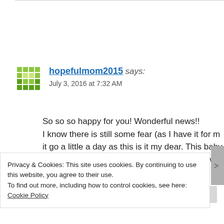[Figure (illustration): Green pixel/mosaic avatar icon for user hopefulmom2015]
hopefulmom2015 says:
July 3, 2016 at 7:32 AM
So so so happy for you! Wonderful news!! I know there is still some fear (as I have it for m it go a little a day as this is it my dear. This baby holding him in just a few months. I love your wr
Privacy & Cookies: This site uses cookies. By continuing to use this website, you agree to their use.
To find out more, including how to control cookies, see here: Cookie Policy
Close and accept